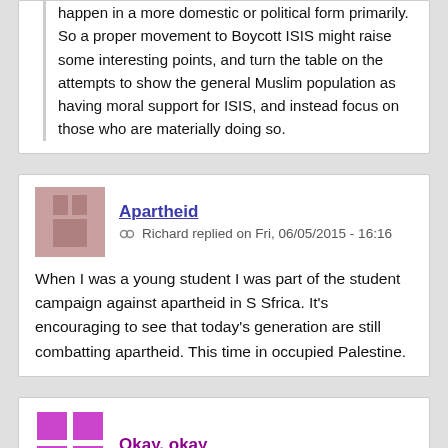happen in a more domestic or political form primarily. So a proper movement to Boycott ISIS might raise some interesting points, and turn the table on the attempts to show the general Muslim population as having moral support for ISIS, and instead focus on those who are materially doing so.
Apartheid
Richard replied on Fri, 06/05/2015 - 16:16
When I was a young student I was part of the student campaign against apartheid in S Sfrica. It's encouraging to see that today's generation are still combatting apartheid. This time in occupied Palestine.
Okay, okay